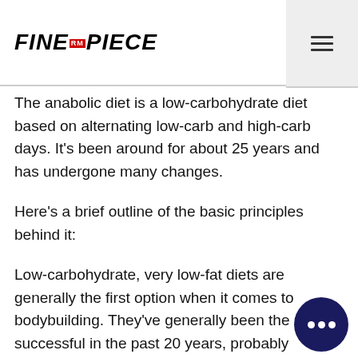FINE PIECE
The anabolic diet is a low-carbohydrate diet based on alternating low-carb and high-carb days. It's been around for about 25 years and has undergone many changes.
Here's a brief outline of the basic principles behind it:
Low-carbohydrate, very low-fat diets are generally the first option when it comes to bodybuilding. They've generally been the most successful in the past 20 years, probably because people generally don't want to change eating habits drastically. Still, the diet has seen a lot of new research and has changed it considerably. Nowadays not just the size of your muscles that matter;